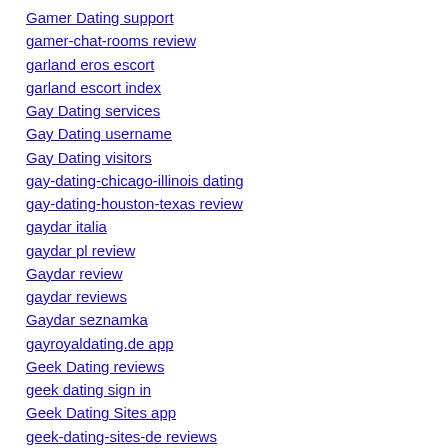Gamer Dating support
gamer-chat-rooms review
garland eros escort
garland escort index
Gay Dating services
Gay Dating username
Gay Dating visitors
gay-dating-chicago-illinois dating
gay-dating-houston-texas review
gaydar italia
gaydar pl review
Gaydar review
gaydar reviews
Gaydar seznamka
gayroyaldating.de app
Geek Dating reviews
geek dating sign in
Geek Dating Sites app
geek-dating-sites-de reviews